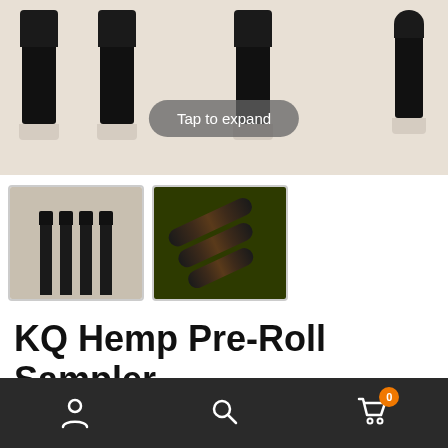[Figure (photo): Top hero product photo showing black cylindrical hemp pre-roll bottles arranged on a beige background with a 'Tap to expand' overlay button]
[Figure (photo): Thumbnail 1: Four slim black pre-roll tubes standing upright on beige background]
[Figure (photo): Thumbnail 2: Multiple dark pre-roll tubes arranged diagonally on dark colorful background]
KQ Hemp Pre-Roll Sampler
★★★★½ (10 Reviews)
[Figure (screenshot): Bottom navigation bar with account, search, and cart (badge: 0) icons on dark background]